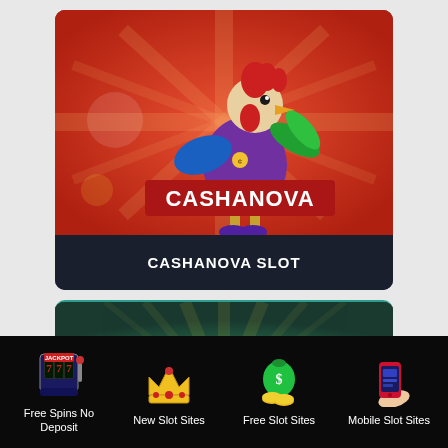[Figure (screenshot): Cashanova slot game card with rooster character on red burst background and dark label bar reading CASHANOVA SLOT]
[Figure (screenshot): Partial second slot game card with green gradient background and yellow light burst]
[Figure (infographic): Bottom navigation bar with four icons: jackpot slot machine (Free Spins No Deposit), crown (New Slot Sites), money bag with coins (Free Slot Sites), mobile phone (Mobile Slot Sites)]